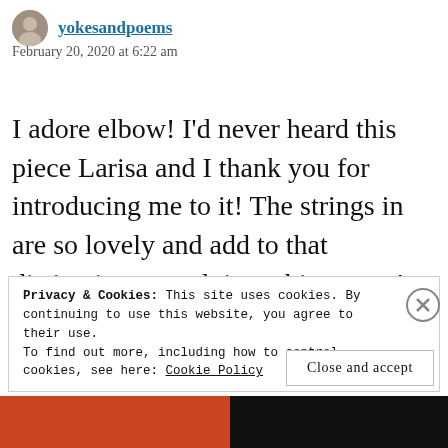yokesandpoems
February 20, 2020 at 6:22 am
I adore elbow! I'd never heard this piece Larisa and I thank you for introducing me to it! The strings in are so lovely and add to that distinctive, nostalgic ambiance we're experiencing on listening. The melodies sort of tap dance across the
Privacy & Cookies: This site uses cookies. By continuing to use this website, you agree to their use.
To find out more, including how to control cookies, see here: Cookie Policy
Close and accept